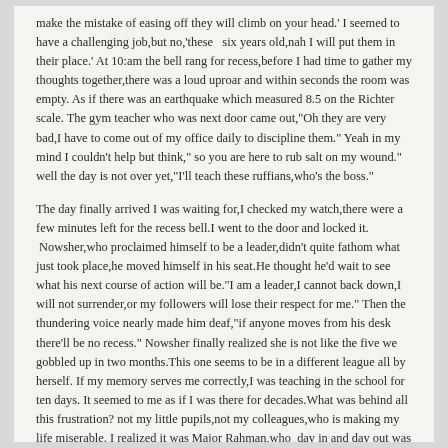make the mistake of easing off they will climb on your head.' I seemed to have a challenging job,but no,'these  six years old,nah I will put them in their place.' At 10:am the bell rang for recess,before I had time to gather my thoughts together,there was a loud uproar and within seconds the room was empty. As if there was an earthquake which measured 8.5 on the Richter scale. The gym teacher who was next door came out,"Oh they are very bad,I have to come out of my office daily to discipline them." Yeah in my mind I couldn't help but think," so you are here to rub salt on my wound." well the day is not over yet,"I'll teach these ruffians,who's the boss."
The day finally arrived I was waiting for,I checked my watch,there were a few minutes left for the recess bell.I went to the door and locked it.  Nowsher,who proclaimed himself to be a leader,didn't quite fathom what just took place,he moved himself in his seat.He thought he'd wait to see what his next course of action will be."I am a leader,I cannot back down,I will not surrender,or my followers will lose their respect for me." Then the thundering voice nearly made him deaf,"if anyone moves from his desk there'll be no recess." Nowsher finally realized she is not like the five we gobbled up in two months.This one seems to be in a different league all by herself. If my memory serves me correctly,I was teaching in the school for ten days. It seemed to me as if I was there for decades.What was behind all this frustration? not my little pupils,not my colleagues,who is making my life miserable. I realized it was Major Rahman,who  day in and day out was scolding the teachers in the presence of the students. This wasn't something